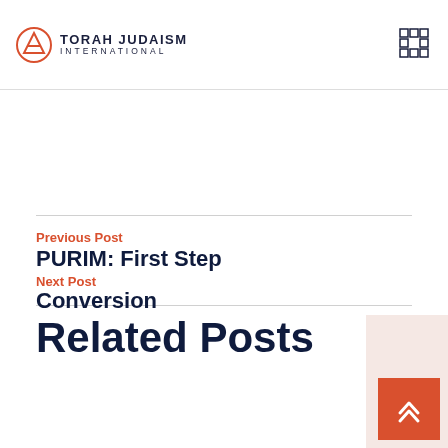TORAH JUDAISM INTERNATIONAL
Previous Post
PURIM: First Step
Next Post
Conversion
Related Posts